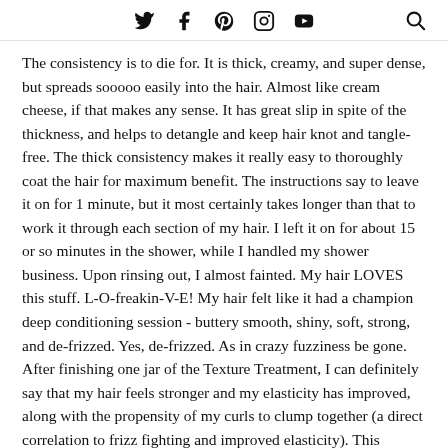[social icons: twitter, facebook, pinterest, instagram, youtube] [search icon]
The consistency is to die for. It is thick, creamy, and super dense, but spreads sooooo easily into the hair. Almost like cream cheese, if that makes any sense. It has great slip in spite of the thickness, and helps to detangle and keep hair knot and tangle-free. The thick consistency makes it really easy to thoroughly coat the hair for maximum benefit. The instructions say to leave it on for 1 minute, but it most certainly takes longer than that to work it through each section of my hair. I left it on for about 15 or so minutes in the shower, while I handled my shower business. Upon rinsing out, I almost fainted. My hair LOVES this stuff. L-O-freakin-V-E! My hair felt like it had a champion deep conditioning session - buttery smooth, shiny, soft, strong, and de-frizzed. Yes, de-frizzed. As in crazy fuzziness be gone. After finishing one jar of the Texture Treatment, I can definitely say that my hair feels stronger and my elasticity has improved, along with the propensity of my curls to clump together (a direct correlation to frizz fighting and improved elasticity). This